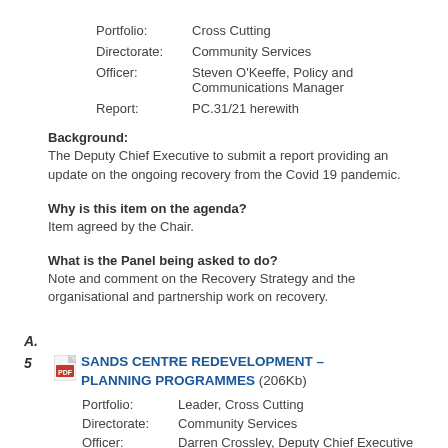Portfolio: Cross Cutting
Directorate: Community Services
Officer: Steven O'Keeffe, Policy and Communications Manager
Report: PC.31/21 herewith
Background:
The Deputy Chief Executive to submit a report providing an update on the ongoing recovery from the Covid 19 pandemic.
Why is this item on the agenda?
Item agreed by the Chair.
What is the Panel being asked to do?
Note and comment on the Recovery Strategy and the organisational and partnership work on recovery.
A.
5  SANDS CENTRE REDEVELOPMENT – PLANNING PROGRAMMES (206Kb)
Portfolio: Leader, Cross Cutting
Directorate: Community Services
Officer: Darren Crossley, Deputy Chief Executive